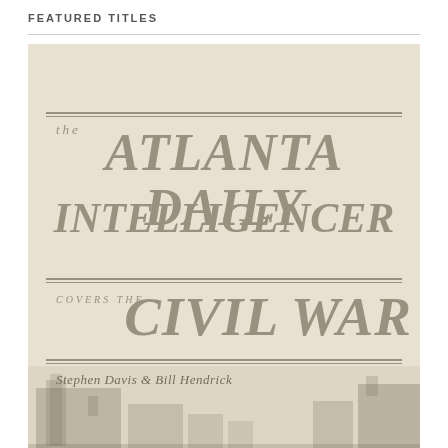FEATURED TITLES
[Figure (illustration): Book cover for 'The Atlanta Daily Intelligencer Covers the Civil War' by Stephen Davis & Bill Hendrick. Aged beige/cream background with decorative horizontal rules, large italic serif title text in muted gray-brown tones, and a faint cityscape silhouette at the bottom.]